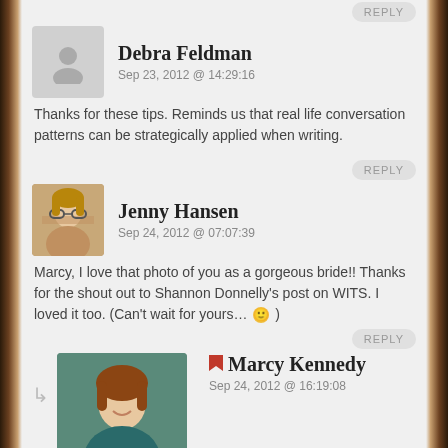REPLY
Debra Feldman
Sep 23, 2012 @ 14:29:16
Thanks for these tips. Reminds us that real life conversation patterns can be strategically applied when writing.
REPLY
Jenny Hansen
Sep 24, 2012 @ 07:07:39
Marcy, I love that photo of you as a gorgeous bride!! Thanks for the shout out to Shannon Donnelly's post on WITS. I loved it too. (Can't wait for yours… 🙂 )
REPLY
Marcy Kennedy
Sep 24, 2012 @ 16:19:08
Thank you 🙂 It was the most beautiful I've felt in my life.